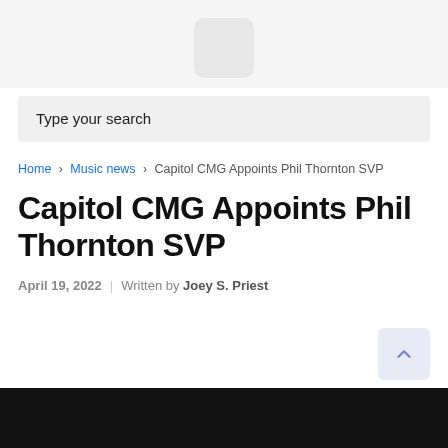[Figure (logo): Logo placeholder box, light gray rounded square]
Type your search
Home > Music news > Capitol CMG Appoints Phil Thornton SVP
Capitol CMG Appoints Phil Thornton SVP
April 19, 2022  |  Written by Joey S. Priest
[Figure (photo): Black image bar at the bottom of the page]